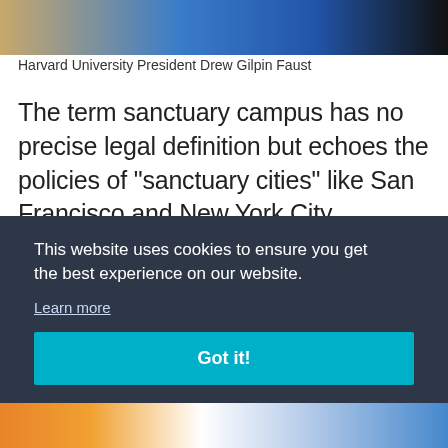[Figure (photo): Cropped photo of Harvard University President Drew Gilpin Faust, split image showing two people]
Harvard University President Drew Gilpin Faust
The term sanctuary campus has no precise legal definition but echoes the policies of “sanctuary cities” like San Francisco and New York City. Sanctuary cities are cities that have adopted policies designed to protect undocumented immigrants by forbidding
This website uses cookies to ensure you get the best experience on our website.
Learn more
Got it!
[Figure (photo): Partial bottom image with orange and blue colors, partially obscured by cookie banner]